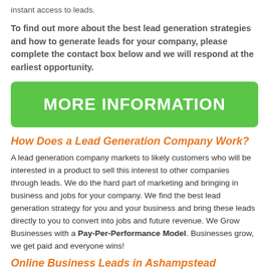instant access to leads.
To find out more about the best lead generation strategies and how to generate leads for your company, please complete the contact box below and we will respond at the earliest opportunity.
[Figure (other): Green button with white bold uppercase text reading MORE INFORMATION]
How Does a Lead Generation Company Work?
A lead generation company markets to likely customers who will be interested in a product to sell this interest to other companies through leads. We do the hard part of marketing and bringing in business and jobs for your company. We find the best lead generation strategy for you and your business and bring these leads directly to you to convert into jobs and future revenue. We Grow Businesses with a Pay-Per-Performance Model. Businesses grow, we get paid and everyone wins!
Online Business Leads in Ashampstead